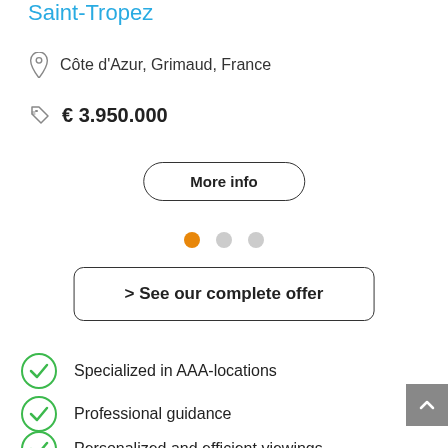Saint-Tropez
Côte d'Azur, Grimaud, France
€ 3.950.000
More info
[Figure (infographic): Pagination dots: one orange active dot and two grey inactive dots]
> See our complete offer
Specialized in AAA-locations
Professional guidance
Personalized and efficient viewings